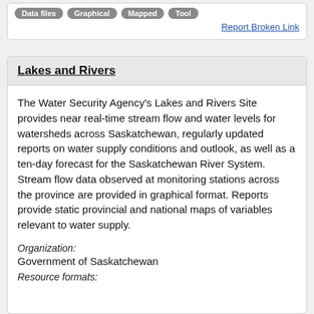[Figure (other): Tag buttons row: Data files, Graphical, Mapped, Tool]
Report Broken Link
Lakes and Rivers
The Water Security Agency's Lakes and Rivers Site provides near real-time stream flow and water levels for watersheds across Saskatchewan, regularly updated reports on water supply conditions and outlook, as well as a ten-day forecast for the Saskatchewan River System. Stream flow data observed at monitoring stations across the province are provided in graphical format. Reports provide static provincial and national maps of variables relevant to water supply.
Organization:
Government of Saskatchewan
Resource formats: